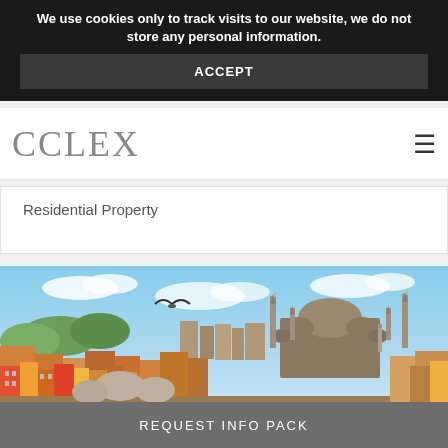We use cookies only to track visits to our website, we do not store any personal information.
ACCEPT
CCLEX
≡
Residential Property
[Figure (photo): Panoramic view of Istanbul skyline featuring the Süleymaniye Mosque with its domes and minarets, colorful buildings in the foreground, a seagull in flight, and a blue sky with clouds.]
REQUEST INFO PACK